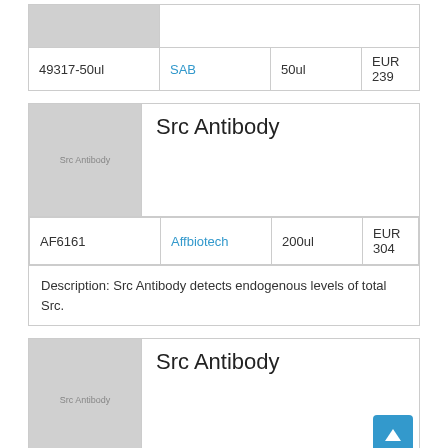| ID | Brand | Size | Price |
| --- | --- | --- | --- |
| 49317-50ul | SAB | 50ul | EUR 239 |
[Figure (photo): Src Antibody product image placeholder (gray box with label 'Src Antibody')]
Src Antibody
| ID | Brand | Size | Price |
| --- | --- | --- | --- |
| AF6161 | Affbiotech | 200ul | EUR 304 |
Description: Src Antibody detects endogenous levels of total Src.
[Figure (photo): Src Antibody product image placeholder (gray box with label 'Src Antibody')]
Src Antibody
|  |